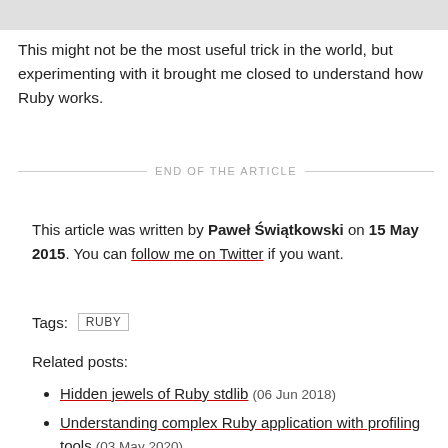This might not be the most useful trick in the world, but experimenting with it brought me closed to understand how Ruby works.
END OF THE ARTICLE
This article was written by Paweł Świątkowski on 15 May 2015. You can follow me on Twitter if you want.
Tags: RUBY
Related posts:
Hidden jewels of Ruby stdlib (06 Jun 2018)
Understanding complex Ruby application with profiling tools (03 May 2020)
Notes on writing Service Objects (01 Jul 2018)